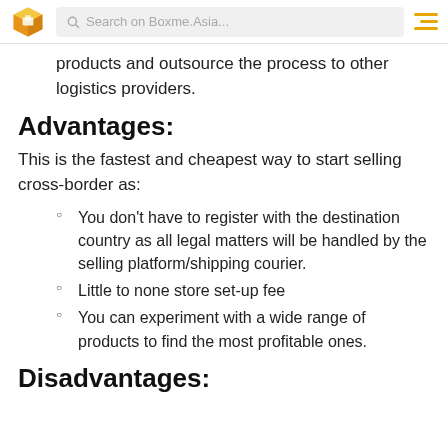Boxme.Asia — Search on Boxme.Asia...
products and outsource the process to other logistics providers.
Advantages:
This is the fastest and cheapest way to start selling cross-border as:
You don't have to register with the destination country as all legal matters will be handled by the selling platform/shipping courier.
Little to none store set-up fee
You can experiment with a wide range of products to find the most profitable ones.
Disadvantages: